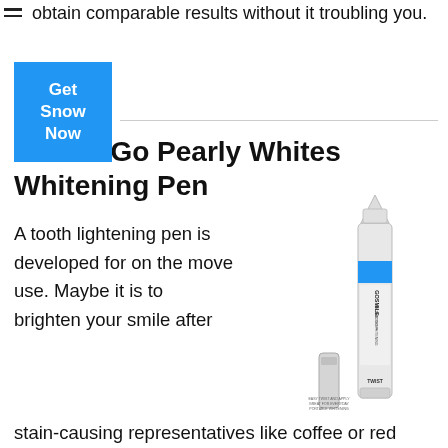obtain comparable results without it troubling you.
[Figure (illustration): A blue button with white text reading 'Get Snow Now']
On the Go Pearly Whites Whitening Pen
A tooth lightening pen is developed for on the move use. Maybe it is to brighten your smile after stain-causing representatives like coffee or red
[Figure (photo): GoSmile On The Go teeth whitening pen product photo showing a pen-style applicator with blue band and cap]